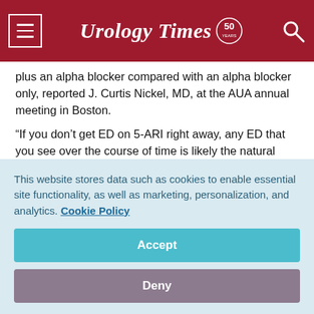Urology Times 50
plus an alpha blocker compared with an alpha blocker only, reported J. Curtis Nickel, MD, at the AUA annual meeting in Boston.
“If you don’t get ED on 5-ARI right away, any ED that you see over the course of time is likely the natural aging process,” said Dr. Nickel, professor of urology at Queen’s University, Kingston, Ontario. “I think this sets to rest one of the major complications of 5-ARIs that we’ve always been concerned
This website stores data such as cookies to enable essential site functionality, as well as marketing, personalization, and analytics. Cookie Policy
Accept
Deny